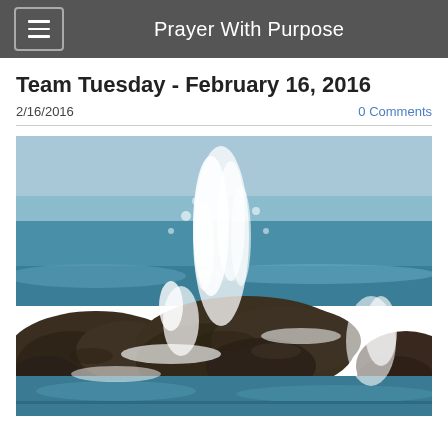Prayer With Purpose
Team Tuesday - February 16, 2016
2/16/2016
0 Comments
[Figure (photo): Ocean waves crashing against large dark rocks on the shore, with sea spray shooting upward, blue ocean and sky in background]